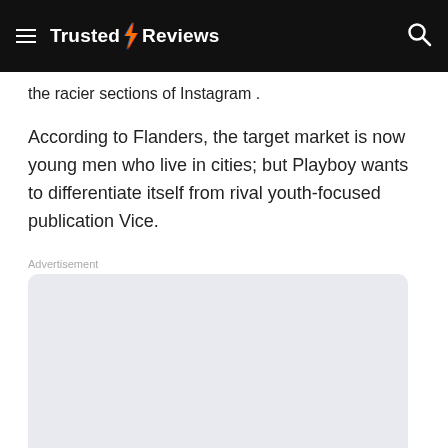Trusted Reviews
the racier sections of Instagram .
According to Flanders, the target market is now young men who live in cities; but Playboy wants to differentiate itself from rival youth-focused publication Vice.
[Figure (other): Advertisement placeholder box with light blue-grey background]